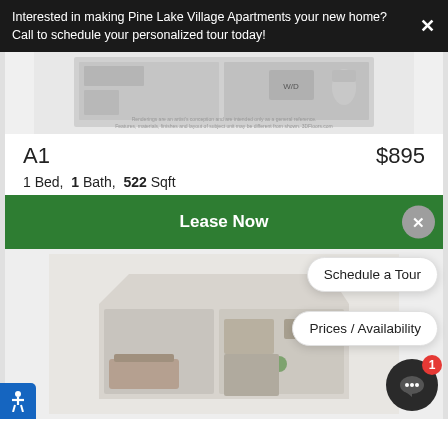Interested in making Pine Lake Village Apartments your new home? Call to schedule your personalized tour today!
[Figure (illustration): Top portion of a 3D rendered apartment floor plan (A1 unit), showing kitchen and W/D area from above, in grayscale]
Renderings are an artist's conception and are intended only as a general reference. Features, materials, finishes and layout of subject unit may be different from shown. 3DFloors.com
A1  $895
1 Bed,  1 Bath,  522 Sqft
Lease Now
Schedule a Tour
Prices / Availability
[Figure (illustration): 3D rendered floor plan of an apartment unit (A1), showing living area, bedroom, bathroom and kitchen from above in color]